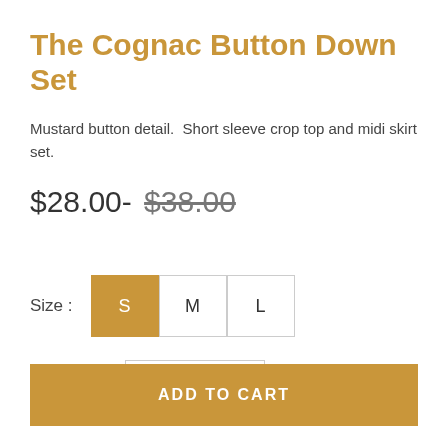The Cognac Button Down Set
Mustard button detail.  Short sleeve crop top and midi skirt set.
$28.00- $38.00
Size : S M L
Quantity: - 1 +
ADD TO CART